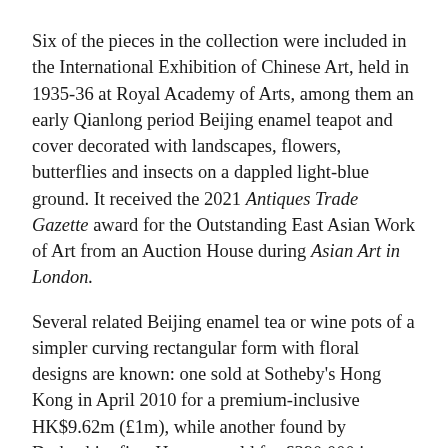Six of the pieces in the collection were included in the International Exhibition of Chinese Art, held in 1935-36 at Royal Academy of Arts, among them an early Qianlong period Beijing enamel teapot and cover decorated with landscapes, flowers, butterflies and insects on a dappled light-blue ground. It received the 2021 Antiques Trade Gazette award for the Outstanding East Asian Work of Art from an Auction House during Asian Art in London.
Several related Beijing enamel tea or wine pots of a simpler curving rectangular form with floral designs are known: one sold at Sotheby's Hong Kong in April 2010 for a premium-inclusive HK$9.62m (£1m), while another found by Derbyshire firm Hansons sold for £390,000 in September 2020.
However, bought by Mrs Parry at Spink on September 30, 1925, this is one of only three melon form teapots extant, the other two in museum collections (the